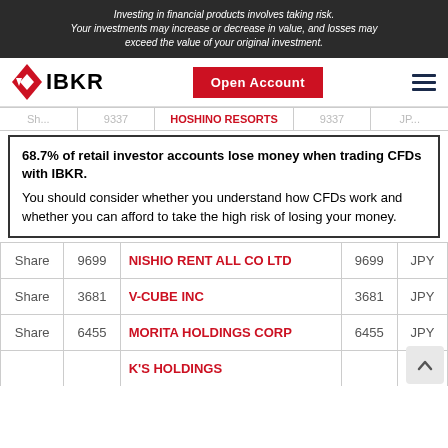Investing in financial products involves taking risk. Your investments may increase or decrease in value, and losses may exceed the value of your original investment.
[Figure (logo): IBKR (Interactive Brokers) logo with red diamond/arrow icon and bold IBKR text, plus Open Account button and hamburger menu]
HOSHINO RESORTS
68.7% of retail investor accounts lose money when trading CFDs with IBKR. You should consider whether you understand how CFDs work and whether you can afford to take the high risk of losing your money.
| Type | Code | Company | Code2 | Currency |
| --- | --- | --- | --- | --- |
| Share | 9699 | NISHIO RENT ALL CO LTD | 9699 | JPY |
| Share | 3681 | V-CUBE INC | 3681 | JPY |
| Share | 6455 | MORITA HOLDINGS CORP | 6455 | JPY |
| Share |  | K'S HOLDINGS |  |  |